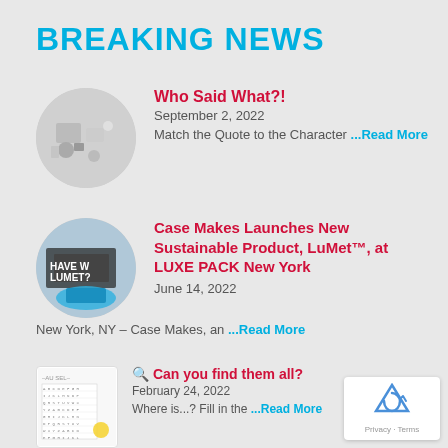BREAKING NEWS
Who Said What?! | September 2, 2022 | Match the Quote to the Character ...Read More
Case Makes Launches New Sustainable Product, LuMet™, at LUXE PACK New York | June 14, 2022 | New York, NY – Case Makes, an ...Read More
🔍 Can you find them all? | February 24, 2022 | Where is...? Fill in the ...Read More